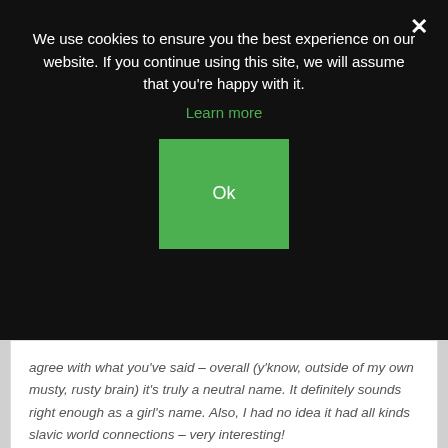We use cookies to ensure you the best experience on our website. If you continue using this site, we will assume that you're happy with it.
Learn more
Ok
agree with what you've said – overall (y'know, outside of my own musty, rusty brain) it's truly a neutral name. It definitely sounds right enough as a girl's name. Also, I had no idea it had all kinds slavic world connections – very interesting!
Reply
Zaffy says
April 5, 2012 at 9:34 AM